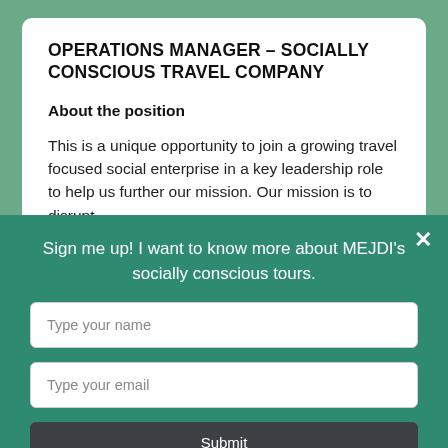OPERATIONS MANAGER – SOCIALLY CONSCIOUS TRAVEL COMPANY
About the position
This is a unique opportunity to join a growing travel focused social enterprise in a key leadership role to help us further our mission. Our mission is to disrupt
Sign me up! I want to know more about MEJDI's socially conscious tours.
Type your name
Type your email
Submit